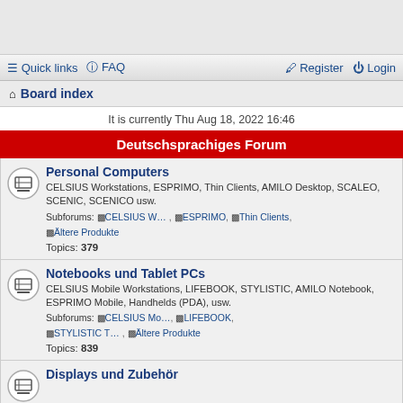Quick links  FAQ  Register  Login
Board index
It is currently Thu Aug 18, 2022 16:46
Deutschsprachiges Forum
Personal Computers
CELSIUS Workstations, ESPRIMO, Thin Clients, AMILO Desktop, SCALEO, SCENIC, SCENICO usw.
Subforums: CELSIUS W… , ESPRIMO , Thin Clients , Ältere Produkte
Topics: 379
Notebooks und Tablet PCs
CELSIUS Mobile Workstations, LIFEBOOK, STYLISTIC, AMILO Notebook, ESPRIMO Mobile, Handhelds (PDA), usw.
Subforums: CELSIUS Mo… , LIFEBOOK , STYLISTIC T… , Ältere Produkte
Topics: 839
Displays und Zubehör